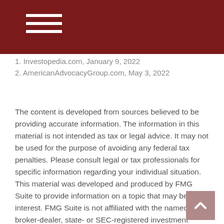1. Investopedia.com, January 9, 2022
2. AmericanAdvocacyGroup.com, May 3, 2022
The content is developed from sources believed to be providing accurate information. The information in this material is not intended as tax or legal advice. It may not be used for the purpose of avoiding any federal tax penalties. Please consult legal or tax professionals for specific information regarding your individual situation. This material was developed and produced by FMG Suite to provide information on a topic that may be of interest. FMG Suite is not affiliated with the named broker-dealer, state- or SEC-registered investment advisory firm. The opinions expressed and material provided are for general information, and should not be considered a solicitation for the purchase or sale of any security. Copyright 2022 FMG Suite.